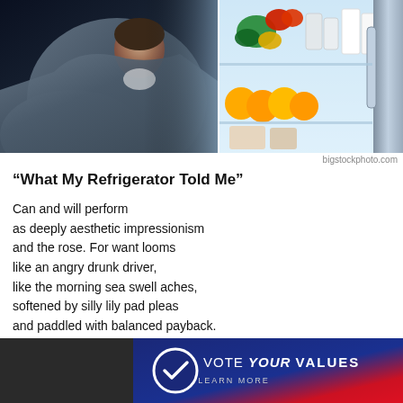[Figure (photo): Two-panel photo: left shows a person wrapped in a grey blanket looking into a refrigerator at night; right shows the inside of an open refrigerator with vegetables, oranges, condiment bottles, and a door shelf with items.]
bigstockphoto.com
“What My Refrigerator Told Me”
Can and will perform
as deeply aesthetic impressionism
and the rose. For want looms
like an angry drunk driver,
like the morning sea swell aches,
softened by silly lily pad pleas
and paddled with balanced payback.

I’m a healthy advocate of symphonic thinking
and the choice to wear pants.
[Figure (infographic): Advertisement banner: dark navy and red background with a circular emblem featuring a checkmark on the left, text reading VOTE YOUR VALUES with LEARN MORE below.]